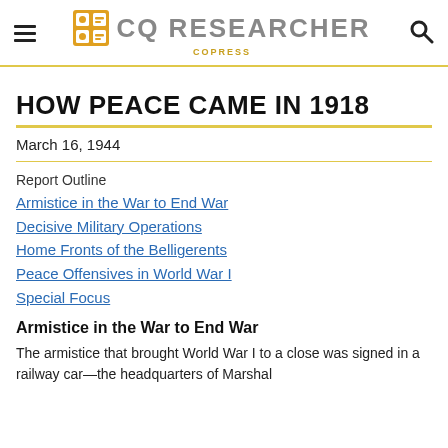CQ RESEARCHER — COPRESS
HOW PEACE CAME IN 1918
March 16, 1944
Report Outline
Armistice in the War to End War
Decisive Military Operations
Home Fronts of the Belligerents
Peace Offensives in World War I
Special Focus
Armistice in the War to End War
The armistice that brought World War I to a close was signed in a railway car—the headquarters of Marshal